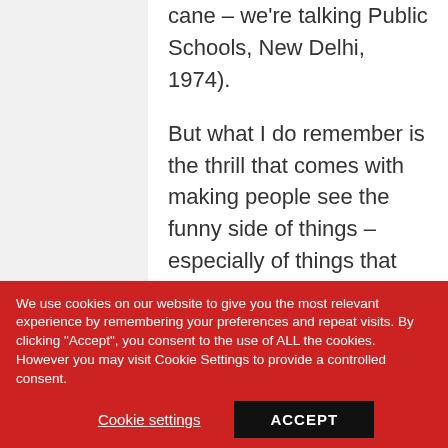cane – we're talking Public Schools, New Delhi, 1974).

But what I do remember is the thrill that comes with making people see the funny side of things – especially of things that one may not consider all that amusing.

And this is where, in 2013, I hope to finally come around full circle – obesity is a serious issue and nothing to laugh about, but any humorist will tell you,
We use cookies on our website to give you the most relevant experience by remembering your preferences and repeat visits. By clicking "Accept", you consent to the use of ALL the cookies. However you may visit Cookie Settings to provide a controlled consent.
Cookie settings    ACCEPT